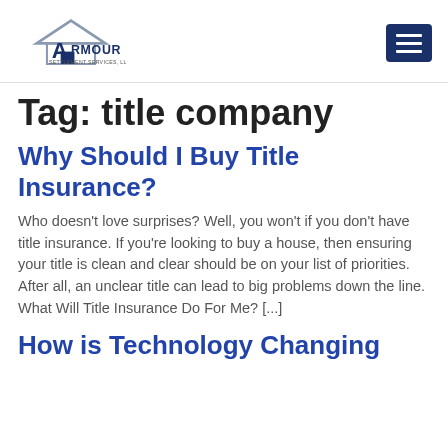Armour Settlement Services, LLC
Tag: title company
Why Should I Buy Title Insurance?
Who doesn't love surprises? Well, you won't if you don't have title insurance. If you're looking to buy a house, then ensuring your title is clean and clear should be on your list of priorities. After all, an unclear title can lead to big problems down the line. What Will Title Insurance Do For Me? [...]
How is Technology Changing